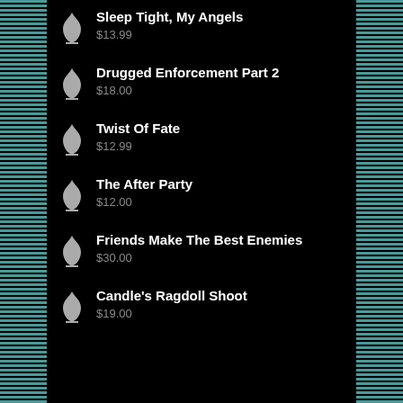Sleep Tight, My Angels
$13.99
Drugged Enforcement Part 2
$18.00
Twist Of Fate
$12.99
The After Party
$12.00
Friends Make The Best Enemies
$30.00
Candle's Ragdoll Shoot
$19.00